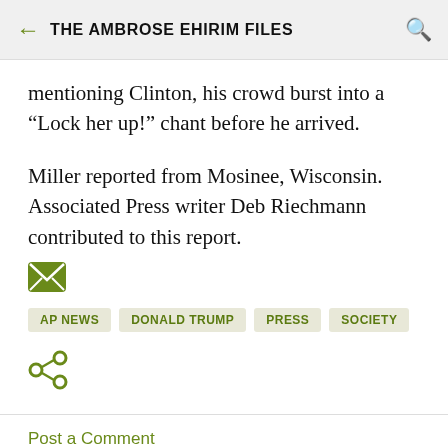THE AMBROSE EHIRIM FILES
mentioning Clinton, his crowd burst into a “Lock her up!” chant before he arrived.
Miller reported from Mosinee, Wisconsin. Associated Press writer Deb Riechmann contributed to this report.
[Figure (infographic): Green envelope/email icon]
AP NEWS   DONALD TRUMP   PRESS   SOCIETY
[Figure (infographic): Green share icon]
Post a Comment